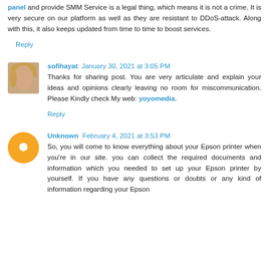panel and provide SMM Service is a legal thing, which means it is not a crime. It is very secure on our platform as well as they are resistant to DDoS-attack. Along with this, it also keeps updated from time to time to boost services.
Reply
sofihayat  January 30, 2021 at 3:05 PM
Thanks for sharing post. You are very articulate and explain your ideas and opinions clearly leaving no room for miscommunication. Please Kindly check My web: yoyomedia.
Reply
Unknown  February 4, 2021 at 3:53 PM
So, you will come to know everything about your Epson printer when you're in our site. you can collect the required documents and information which you needed to set up your Epson printer by yourself. If you have any questions or doubts or any kind of information regarding your Epson